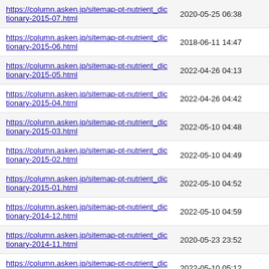| URL | Last Modified |
| --- | --- |
| https://column.asken.jp/sitemap-pt-nutrient_dictionary-2015-07.html | 2020-05-25 06:38 |
| https://column.asken.jp/sitemap-pt-nutrient_dictionary-2015-06.html | 2018-06-11 14:47 |
| https://column.asken.jp/sitemap-pt-nutrient_dictionary-2015-05.html | 2022-04-26 04:13 |
| https://column.asken.jp/sitemap-pt-nutrient_dictionary-2015-04.html | 2022-04-26 04:42 |
| https://column.asken.jp/sitemap-pt-nutrient_dictionary-2015-03.html | 2022-05-10 04:48 |
| https://column.asken.jp/sitemap-pt-nutrient_dictionary-2015-02.html | 2022-05-10 04:49 |
| https://column.asken.jp/sitemap-pt-nutrient_dictionary-2015-01.html | 2022-05-10 04:52 |
| https://column.asken.jp/sitemap-pt-nutrient_dictionary-2014-12.html | 2022-05-10 04:59 |
| https://column.asken.jp/sitemap-pt-nutrient_dictionary-2014-11.html | 2020-05-23 23:52 |
| https://column.asken.jp/sitemap-pt-nutrient_dictionary-2014-09.html | 2022-05-10 05:12 |
| https://column.asken.jp/sitemap-pt-nutrient_dictionary-2014-08.html | 2022-06-21 03:45 |
| https://column.asken.jp/sitemap-pt-nutrient_dictionary-2014-07.html | 2015-01-27 09:00 |